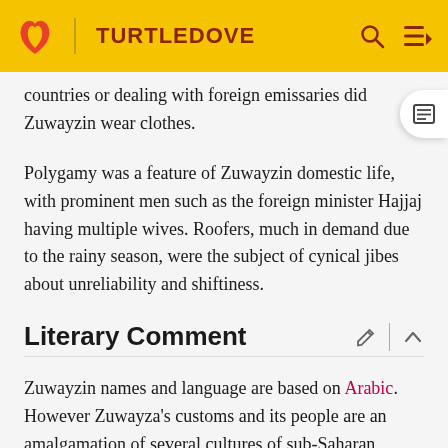TURTLEDOVE
countries or dealing with foreign emissaries did Zuwayzin wear clothes.
Polygamy was a feature of Zuwayzin domestic life, with prominent men such as the foreign minister Hajjaj having multiple wives. Roofers, much in demand due to the rainy season, were the subject of cynical jibes about unreliability and shiftiness.
Literary Comment
Zuwayzin names and language are based on Arabic. However Zuwayza's customs and its people are an amalgamation of several cultures of sub-Saharan Africa.
Zuwayza's role in the war is modeled on that of Finland